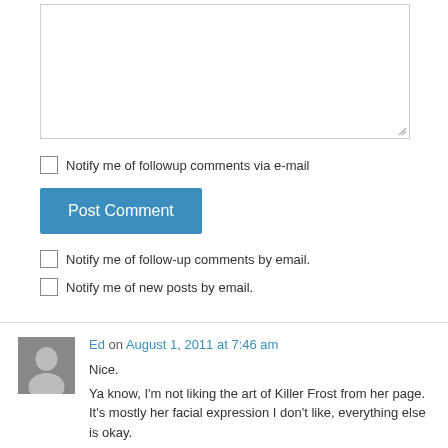[Figure (screenshot): Empty comment textarea input box with resize handle]
Notify me of followup comments via e-mail
Post Comment
Notify me of follow-up comments by email.
Notify me of new posts by email.
Ed on August 1, 2011 at 7:46 am
Nice.
Ya know, I'm not liking the art of Killer Frost from her page. It's mostly her facial expression I don't like, everything else is okay.